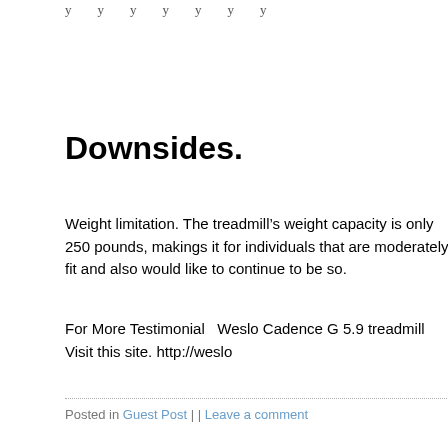y y y y y y y y y y y
Downsides.
Weight limitation. The treadmill’s weight capacity is only 250 pounds, makings it for individuals that are moderately fit and also would like to continue to be so.
For More Testimonial  Weslo Cadence G 5.9 treadmill Visit this site. http://weslo
Posted in Guest Post | | Leave a comment